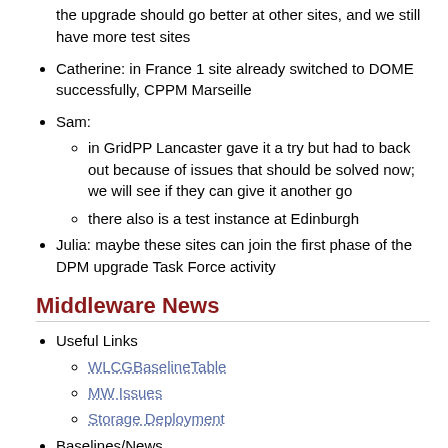the upgrade should go better at other sites, and we still have more test sites
Catherine: in France 1 site already switched to DOME successfully, CPPM Marseille
Sam:
in GridPP Lancaster gave it a try but had to back out because of issues that should be solved now; we will see if they can give it another go
there also is a test instance at Edinburgh
Julia: maybe these sites can join the first phase of the DPM upgrade Task Force activity
Middleware News
Useful Links
WLCGBaselineTable
MW Issues
Storage Deployment
Baselines/News